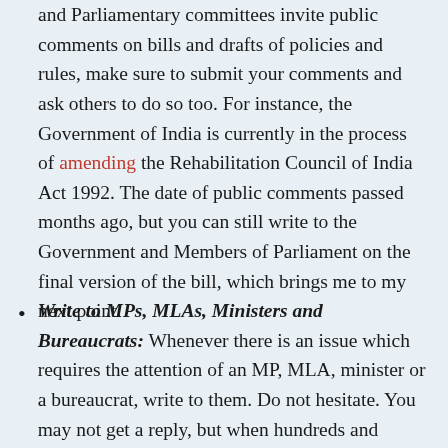and Parliamentary committees invite public comments on bills and drafts of policies and rules, make sure to submit your comments and ask others to do so too. For instance, the Government of India is currently in the process of amending the Rehabilitation Council of India Act 1992. The date of public comments passed months ago, but you can still write to the Government and Members of Parliament on the final version of the bill, which brings me to my next point.
Write to MPs, MLAs, Ministers and Bureaucrats: Whenever there is an issue which requires the attention of an MP, MLA, minister or a bureaucrat, write to them. Do not hesitate. You may not get a reply, but when hundreds and